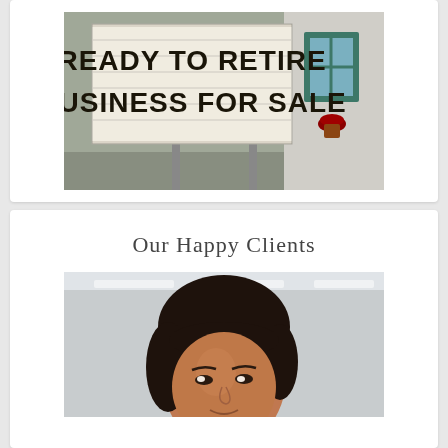[Figure (photo): A sign on a white roadside billboard reading 'READY TO RETIRE BUSINESS FOR SALE' in large bold black letters, with a house featuring teal/green window trim and a flower pot visible to the right]
Our Happy Clients
[Figure (photo): A close-up portrait photo of a woman with dark hair, looking toward the camera, with a blurred light interior background]